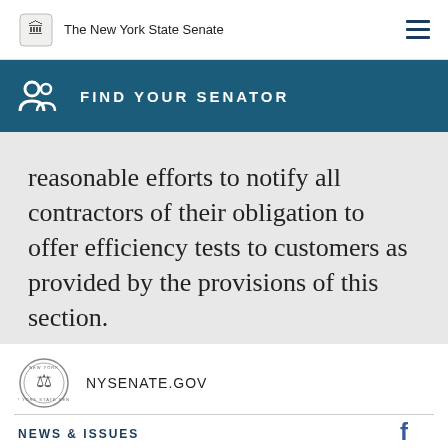The New York State Senate
FIND YOUR SENATOR
reasonable efforts to notify all contractors of their obligation to offer efficiency tests to customers as provided by the provisions of this section.
NYSENATE.GOV
NEWS & ISSUES